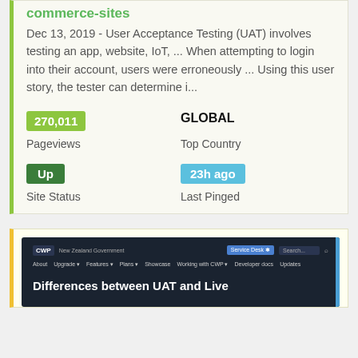commerce-sites
Dec 13, 2019 - User Acceptance Testing (UAT) involves testing an app, website, IoT, ... When attempting to login into their account, users were erroneously ... Using this user story, the tester can determine i...
270,011
Pageviews
GLOBAL
Top Country
Up
Site Status
23h ago
Last Pinged
[Figure (screenshot): Screenshot of a dark-themed website with header navigation showing CWP logo, menu items (About, Upgrade, Features, Plans, Showcase, Working with CWP, Developer docs, Updates) and a heading 'Differences between UAT and Live']